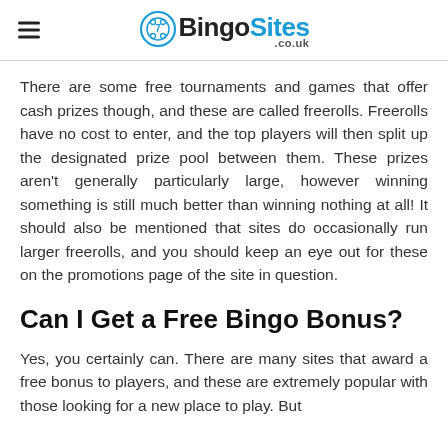BingoSites .co.uk
There are some free tournaments and games that offer cash prizes though, and these are called freerolls. Freerolls have no cost to enter, and the top players will then split up the designated prize pool between them. These prizes aren't generally particularly large, however winning something is still much better than winning nothing at all! It should also be mentioned that sites do occasionally run larger freerolls, and you should keep an eye out for these on the promotions page of the site in question.
Can I Get a Free Bingo Bonus?
Yes, you certainly can. There are many sites that award a free bonus to players, and these are extremely popular with those looking for a new place to play. But